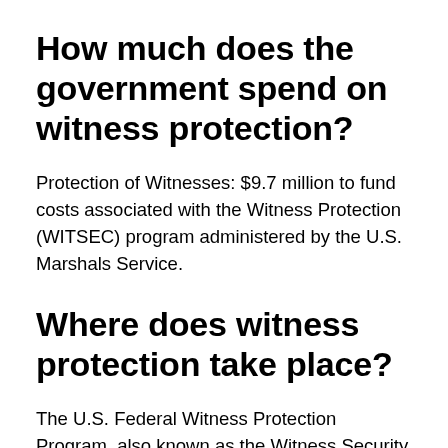How much does the government spend on witness protection?
Protection of Witnesses: $9.7 million to fund costs associated with the Witness Protection (WITSEC) program administered by the U.S. Marshals Service.
Where does witness protection take place?
The U.S. Federal Witness Protection Program, also known as the Witness Security or WITSEC Program, tries to stash you where you'll blend in, whether that's Portland, Oregon, Portland, Maine, or anywhere in